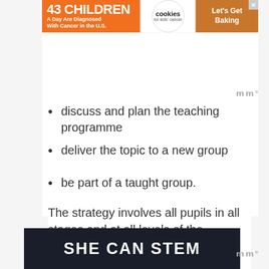[Figure (other): Advertisement banner: '43 CHILDREN A Day Are Diagnosed With Cancer in the U.S.' with cookies for kids' cancer logo and 'Let's Get Baking' call to action]
discuss and plan the teaching programme
deliver the topic to a new group
be part of a taught group.
The strategy involves all pupils in all stages and at all levels of the teaching and learning process. The process
[Figure (other): Advertisement banner: 'SHE CAN STEM' on dark background]